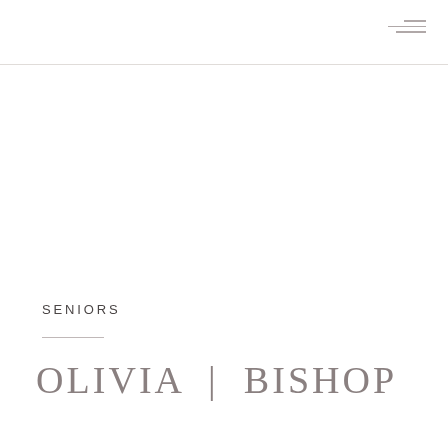≡ (menu icon)
SENIORS
OLIVIA | BISHOP